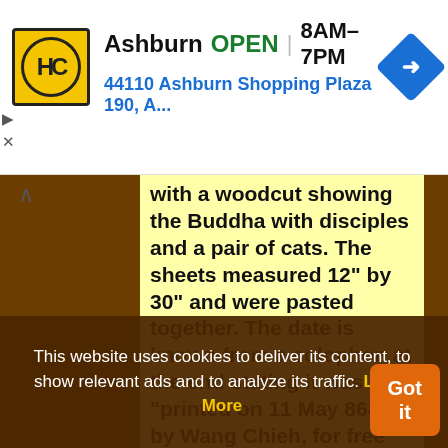[Figure (screenshot): Ad banner: HC logo (yellow circle with HC letters), business name 'Ashburn', status 'OPEN', hours '8AM-7PM', address '44110 Ashburn Shopping Plaza 190, A...', blue navigation arrow icon. Also shows close/dismiss icons.]
with a woodcut showing the Buddha with disciples and a pair of cats. The sheets measured 12" by 30" and were pasted together. The date is known from a colophon at the end stating it was "printed on 11 May 868, by Wang Chieh, for free general distribution" and that it was dedicated to his
This website uses cookies to deliver its content, to show relevant ads and to analyze its traffic. Learn More